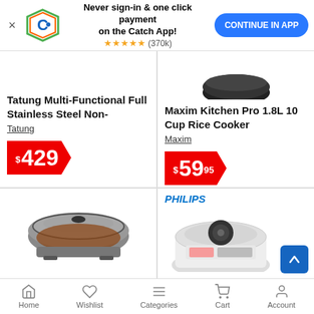[Figure (screenshot): App banner with Catch logo, 'Never sign-in & one click payment on the Catch App!' text, 5 stars (370k), and CONTINUE IN APP button]
Tatung Multi-Functional Full Stainless Steel Non-
Tatung
$429
Maxim Kitchen Pro 1.8L 10 Cup Rice Cooker
Maxim
$59.95
$56.95 with OnePass
FREE delivery, 4 stars (11 reviews)
PHILIPS
Home  Wishlist  Categories  Cart  Account